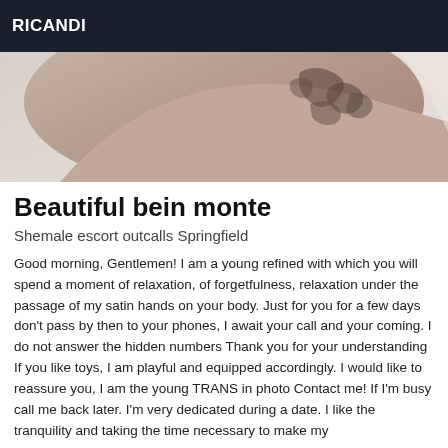RICANDI
[Figure (photo): Close-up photo of a person's shoulder and back showing tattoos]
Beautiful bein monte
Shemale escort outcalls Springfield
Good morning, Gentlemen! I am a young refined with which you will spend a moment of relaxation, of forgetfulness, relaxation under the passage of my satin hands on your body. Just for you for a few days don't pass by then to your phones, I await your call and your coming. I do not answer the hidden numbers Thank you for your understanding If you like toys, I am playful and equipped accordingly. I would like to reassure you, I am the young TRANS in photo Contact me! If I'm busy call me back later. I'm very dedicated during a date. I like the tranquility and taking the time necessary to make my